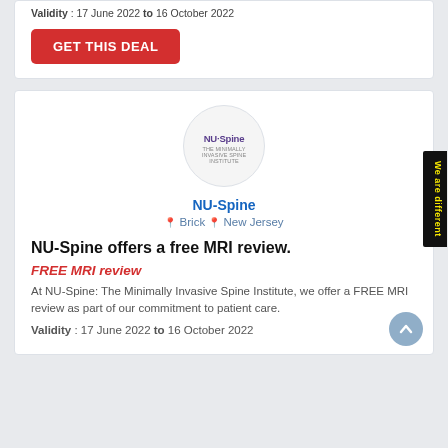Validity : 17 June 2022 to 16 October 2022
GET THIS DEAL
[Figure (logo): NU-Spine circular logo with text 'NU-Spine' and subtitle]
NU-Spine
Brick  New Jersey
NU-Spine offers a free MRI review.
FREE MRI review
At NU-Spine: The Minimally Invasive Spine Institute, we offer a FREE MRI review as part of our commitment to patient care.
Validity : 17 June 2022 to 16 October 2022